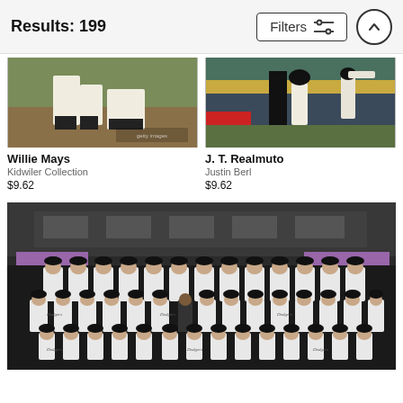Results: 199
[Figure (photo): Willie Mays baseball action photo - player sliding on grass field, vintage color photograph]
Willie Mays
Kidwiler Collection
$9.62
[Figure (photo): J. T. Realmuto baseball action photo - catcher and batter at home plate in modern stadium with crowd]
J. T. Realmuto
Justin Berl
$9.62
[Figure (photo): Brooklyn Dodgers team photo - large group of players in Dodgers uniforms posed in rows inside a stadium, black and white vintage photograph]